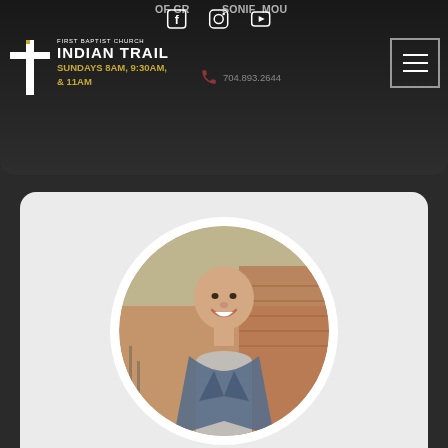First Baptist Church Indian Trail — SUNDAYS 8AM, 9:30AM, & 11AM — 704.893.2644
[Figure (photo): Circular profile photo of a bald smiling man in a blue blazer, photographed outdoors against a brick background]
[Figure (logo): First Baptist Church Indian Trail cross logo with church name and service times]